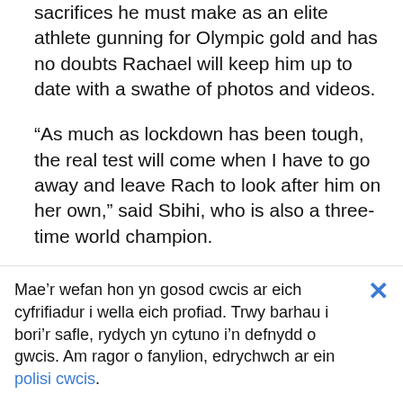sacrifices he must make as an elite athlete gunning for Olympic gold and has no doubts Rachael will keep him up to date with a swathe of photos and videos.
“As much as lockdown has been tough, the real test will come when I have to go away and leave Rach to look after him on her own,” said Sbihi, who is also a three-time world champion.
“I know there are a lot of people in worse situations than us, but it will be hard on her,
Mae’r wefan hon yn gosod cwcis ar eich cyfrifiadur i wella eich profiad. Trwy barhau i bori’r safle, rydych yn cytuno i’n defnydd o gwcis. Am ragor o fanylion, edrychwch ar ein polisi cwcis.